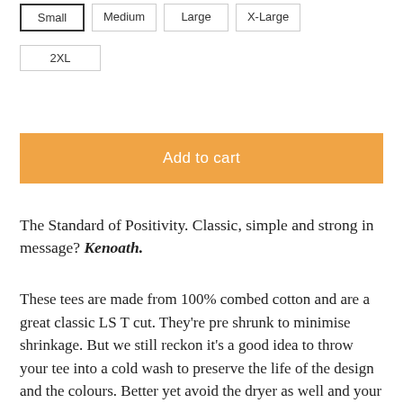Small  Medium  Large  X-Large  2XL
Add to cart
The Standard of Positivity. Classic, simple and strong in message? Kenoath.
These tees are made from 100% combed cotton and are a great classic LS T cut. They're pre shrunk to minimise shrinkage. But we still reckon it's a good idea to throw your tee into a cold wash to preserve the life of the design and the colours. Better yet avoid the dryer as well and your tee will last for years to...